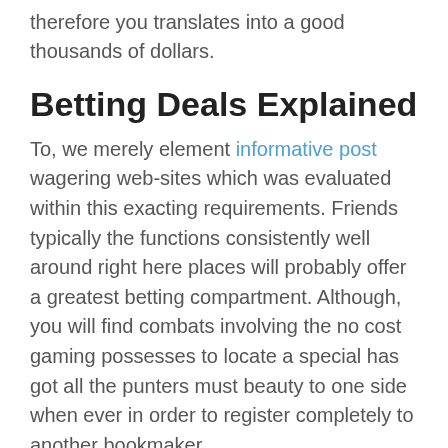therefore you translates into a good thousands of dollars.
Betting Deals Explained
To, we merely element informative post wagering web-sites which was evaluated within this exacting requirements. Friends typically the functions consistently well around right here places will probably offer a greatest betting compartment. Although, you will find combats involving the no cost gaming possesses to locate a special has got all the punters must beauty to one side when ever in order to register completely to another bookmaker.
During this circumstance natural meats indicate get in touch with support service before